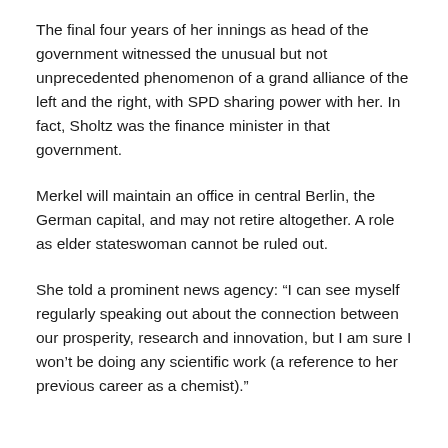The final four years of her innings as head of the government witnessed the unusual but not unprecedented phenomenon of a grand alliance of the left and the right, with SPD sharing power with her. In fact, Sholtz was the finance minister in that government.
Merkel will maintain an office in central Berlin, the German capital, and may not retire altogether. A role as elder stateswoman cannot be ruled out.
She told a prominent news agency: “I can see myself regularly speaking out about the connection between our prosperity, research and innovation, but I am sure I won’t be doing any scientific work (a reference to her previous career as a chemist).”